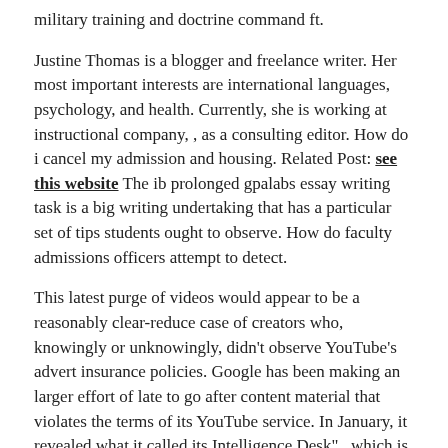military training and doctrine command ft.
Justine Thomas is a blogger and freelance writer. Her most important interests are international languages, psychology, and health. Currently, she is working at instructional company, , as a consulting editor. How do i cancel my admission and housing. Related Post: see this website The ib prolonged gpalabs essay writing task is a big writing undertaking that has a particular set of tips students ought to observe. How do faculty admissions officers attempt to detect.
This latest purge of videos would appear to be a reasonably clear-reduce case of creators who, knowingly or unknowingly, didn’t observe YouTube’s advert insurance policies. Google has been making an larger effort of late to go after content material that violates the terms of its YouTube service. In January, it revealed what it called its Intelligence Desk” , which is supposed to use a wide range of sources, together gpalabs with user reports, Google machine studying information and extra to search out YouTube movies posted with inapropriate content material earlier than regular. It could possibly then determine to remove those movies or demonitize them, so the